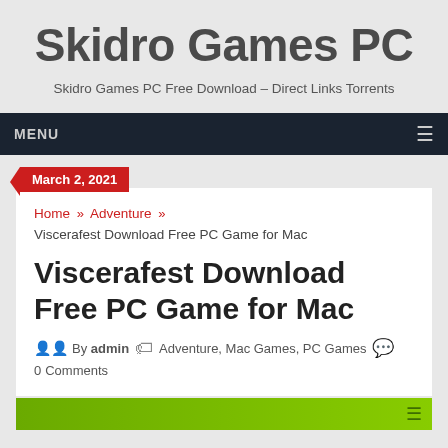Skidro Games PC
Skidro Games PC Free Download – Direct Links Torrents
MENU ≡
March 2, 2021
Home » Adventure » Viscerafest Download Free PC Game for Mac
Viscerafest Download Free PC Game for Mac
By admin  Adventure, Mac Games, PC Games  0 Comments